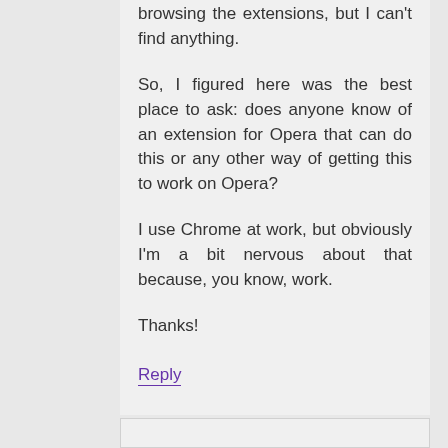browsing the extensions, but I can't find anything.
So, I figured here was the best place to ask: does anyone know of an extension for Opera that can do this or any other way of getting this to work on Opera?
I use Chrome at work, but obviously I'm a bit nervous about that because, you know, work.
Thanks!
Reply